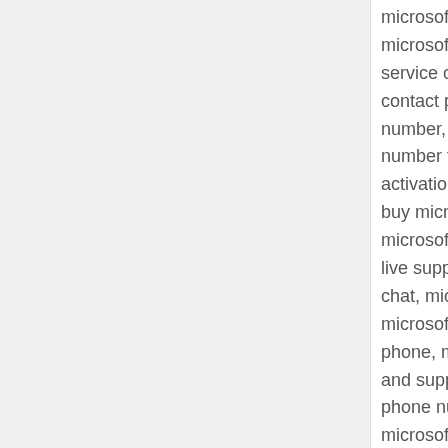microsofts phone number, what is microsofts number, microsoft live support, whats microsofts number, microsoft service chat, microsoft customer service email, microsoft contact phone number, microsoft contact us, microsoft contact number, microsoft call center, microsoft telephone number, number for microsoft support, microsoft 1 800 number, microsoft activation center, microsoft activation key, microsoft activation, buy microsoft office, buy microsoft office mac, cheapest microsoft office, microsoft live chat support, microsoft live support number, microsoft contact number usa, microsoft chat, microsoft tech support phone, microsoft tech support phone, microsoft tech support, call microsoft technical support, microsoft phone, microsoft customer, microsoft customer care, microsoft and support, microsoft help center, microsoft helpline number, phone number, microsoft com help, microsoft chat help, microsoft phone number tech support, microsoft phone number usa, microsoft numbers, phone number microsoft, microsoft contact, microsoft support contact number, microsoft support phone, how to contact microsoft support,
norton support, norton setup, norton tech support, norton help number, norton 360 phone number, norton technical support